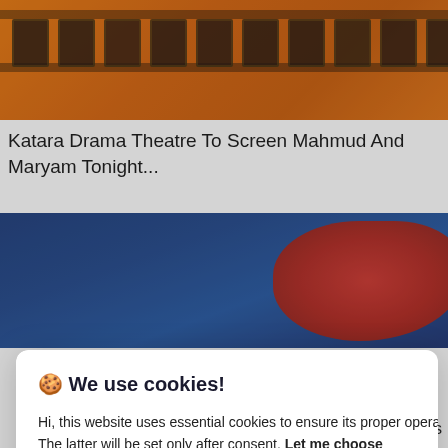[Figure (photo): Orange film strip background image at top of webpage]
Katara Drama Theatre To Screen Mahmud And Maryam Tonight...
[Figure (photo): Blue and red abstract background image for second article]
🍪 We use cookies!
Hi, this website uses essential cookies to ensure its proper operation and tracking cookies to understand how you interact with it. The latter will be set only after consent. Let me choose
Accept all
Reject all